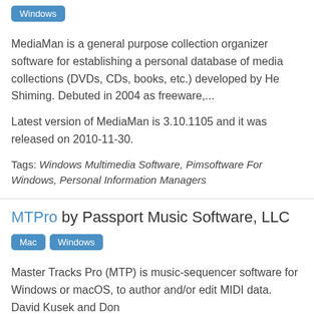[Figure (other): Blue badge button labeled 'Windows']
MediaMan is a general purpose collection organizer software for establishing a personal database of media collections (DVDs, CDs, books, etc.) developed by He Shiming. Debuted in 2004 as freeware,...
Latest version of MediaMan is 3.10.1105 and it was released on 2010-11-30.
Tags: Windows Multimedia Software, Pimsoftware For Windows, Personal Information Managers
MTPro by Passport Music Software, LLC
[Figure (other): Two blue badge buttons labeled 'Mac' and 'Windows']
Master Tracks Pro (MTP) is music-sequencer software for Windows or macOS, to author and/or edit MIDI data. David Kusek and Don Milli...